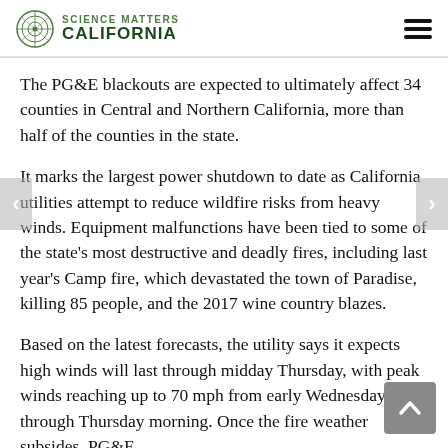Science Matters California
The PG&E blackouts are expected to ultimately affect 34 counties in Central and Northern California, more than half of the counties in the state.
It marks the largest power shutdown to date as California utilities attempt to reduce wildfire risks from heavy winds. Equipment malfunctions have been tied to some of the state's most destructive and deadly fires, including last year's Camp fire, which devastated the town of Paradise, killing 85 people, and the 2017 wine country blazes.
Based on the latest forecasts, the utility says it expects high winds will last through midday Thursday, with peak winds reaching up to 70 mph from early Wednesday through Thursday morning. Once the fire weather subsides, PG&E